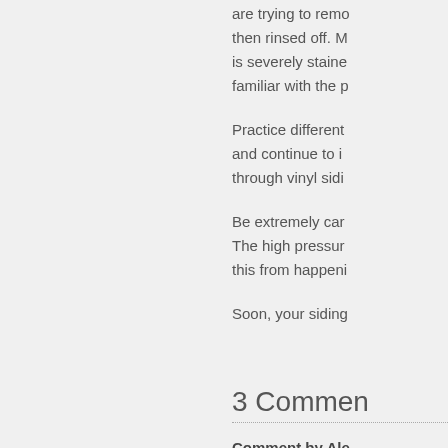are trying to remove, then rinsed off. M is severely staine familiar with the p
Practice different and continue to i through vinyl sidi
Be extremely car The high pressur this from happeni
Soon, your siding
3 Commen
Comment by Ale
Hi! The informatio